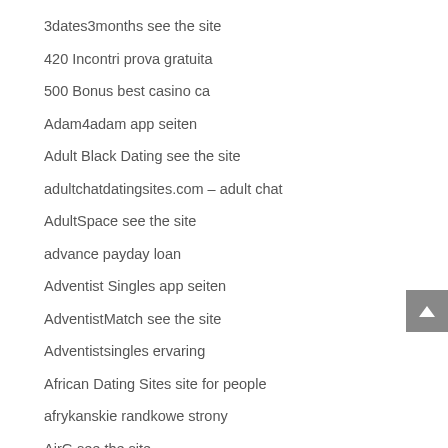3dates3months see the site
420 Incontri prova gratuita
500 Bonus best casino ca
Adam4adam app seiten
Adult Black Dating see the site
adultchatdatingsites.com – adult chat
AdultSpace see the site
advance payday loan
Adventist Singles app seiten
AdventistMatch see the site
Adventistsingles ervaring
African Dating Sites site for people
afrykanskie randkowe strony
AirG see the site
aisle reviews